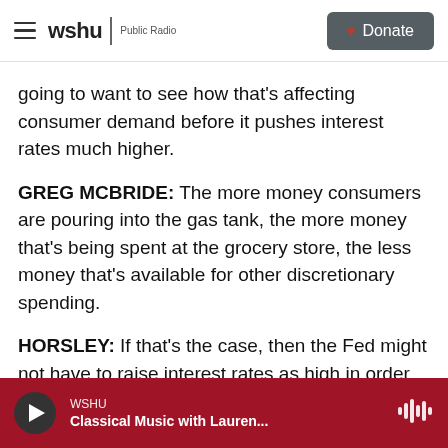wshu | Public Radio  [Donate]
going to want to see how that's affecting consumer demand before it pushes interest rates much higher.
GREG MCBRIDE: The more money consumers are pouring into the gas tank, the more money that's being spent at the grocery store, the less money that's available for other discretionary spending.
HORSLEY: If that's the case, then the Fed might not have to raise interest rates as high in order to cool off demand. The Fed is walking a bit of a tightrope here, as it tries to get inflation under control without
WSHU  Classical Music with Lauren...